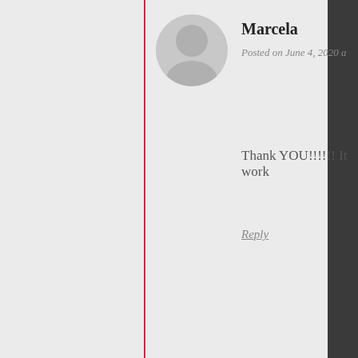Marcela
Posted on June 4, 2020 a
Thank YOU!!!!!! It work
Reply
karakonda
Posted on May 23, 2020 at 17:33   Permalink
Thanks for doing such an amazing work with both creating this plugin and helping ppl fix plugin related